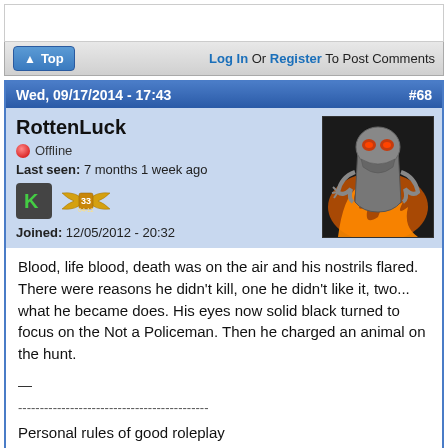Log In Or Register To Post Comments
Wed, 09/17/2014 - 17:43   #68
RottenLuck
Offline
Last seen: 7 months 1 week ago
[Figure (illustration): User badges: K badge and gold wings badge with 33 and 04-12]
Joined: 12/05/2012 - 20:32
[Figure (photo): Avatar image: Terminator robot skeleton with flames]
Blood, life blood, death was on the air and his nostrils flared. There were reasons he didn't kill, one he didn't like it, two... what he became does. His eyes now solid black turned to focus on the Not a Policeman. Then he charged an animal on the hunt.
—
--------------------------------------------
Personal rules of good roleplay